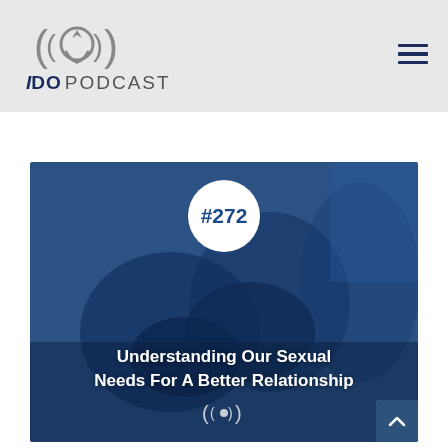[Figure (logo): I DO PODCAST logo with ring and radio wave icon above the text]
[Figure (illustration): Podcast episode banner #272 - blue-tinted photo of couple with text 'Understanding Our Sexual Needs For A Better Relationship' and podcast icon]